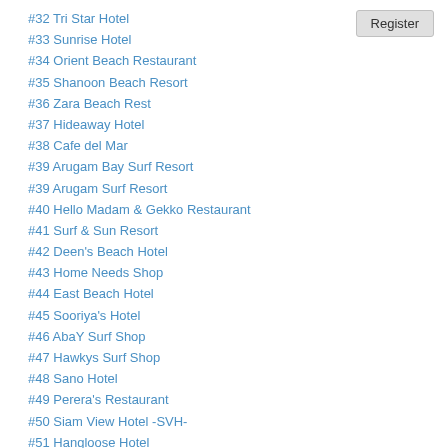#32 Tri Star Hotel
#33 Sunrise Hotel
#34 Orient Beach Restaurant
#35 Shanoon Beach Resort
#36 Zara Beach Rest
#37 Hideaway Hotel
#38 Cafe del Mar
#39 Arugam Bay Surf Resort
#39 Arugam Surf Resort
#40 Hello Madam & Gekko Restaurant
#41 Surf & Sun Resort
#42 Deen's Beach Hotel
#43 Home Needs Shop
#44 East Beach Hotel
#45 Sooriya's Hotel
#46 AbaY Surf Shop
#47 Hawkys Surf Shop
#48 Sano Hotel
#49 Perera's Restaurant
#50 Siam View Hotel -SVH-
#51 Hangloose Hotel
#52 Subashi Beer Bar
#53 Meena's Beer Bar
#54 Shashni Beach Resort
#55 Seven Sea Restaurant
#56 Tharaka Restaurant
Register